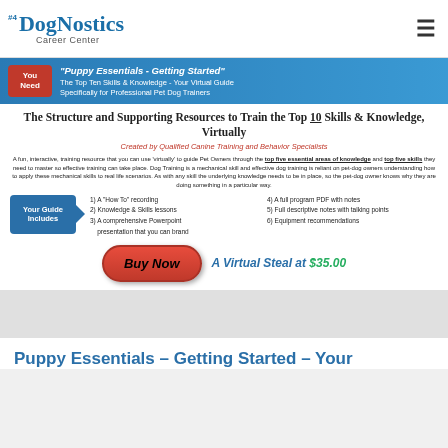[Figure (logo): DogNostics Career Center logo with #4 badge]
[Figure (infographic): Puppy Essentials - Getting Started promo banner with You Need badge, teal gradient background, white text]
The Structure and Supporting Resources to Train the Top 10 Skills & Knowledge, Virtually
Created by Qualified Canine Training and Behavior Specialists
A fun, interactive, training resource that you can use 'virtually' to guide Pet Owners through the top five essential areas of knowledge and top five skills they need to master so effective training can take place. Dog Training is a mechanical skill and effective dog training is reliant on pet-dog owners understanding how to apply these mechanical skills to real life scenarios. As with any skill the underlying knowledge needs to be in place, so the pet-dog owner knows why they are doing something in a particular way.
[Figure (infographic): Your Guide Includes arrow badge with list of 6 items: 1) A How To recording, 2) Knowledge & Skills lessons, 3) A comprehensive Powerpoint presentation that you can brand, 4) A full program PDF with notes, 5) Full descriptive notes with talking points, 6) Equipment recommendations]
[Figure (infographic): Buy Now red button and A Virtual Steal at $35.00 text]
Puppy Essentials – Getting Started – Your